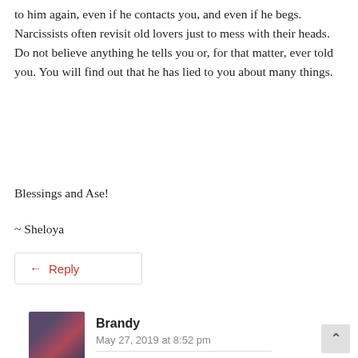to him again, even if he contacts you, and even if he begs. Narcissists often revisit old lovers just to mess with their heads. Do not believe anything he tells you or, for that matter, ever told you. You will find out that he has lied to you about many things.
Blessings and Ase!
~ Sheloya
Reply
Brandy
May 27, 2019 at 8:52 pm
thank u for this breakdown for a narcissist. I dealt with this type of person and they destroyed me mentally and emotionally. yes they are very sick people who literally suck the life out of you. thank u for this confirmation.